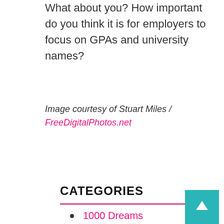What about you? How important do you think it is for employers to focus on GPAs and university names?
Image courtesy of Stuart Miles / FreeDigitalPhotos.net
CATEGORIES
1000 Dreams
Advice
Campus Life
Career
College Safety
Dating